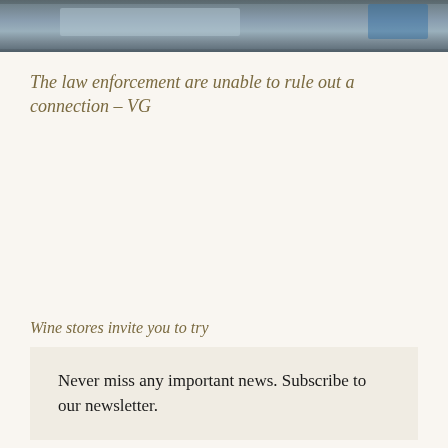[Figure (photo): Partial photo strip at top of page showing what appears to be an outdoor scene, cropped at the top edge]
The law enforcement are unable to rule out a connection – VG
Wine stores invite you to try
Never miss any important news. Subscribe to our newsletter.